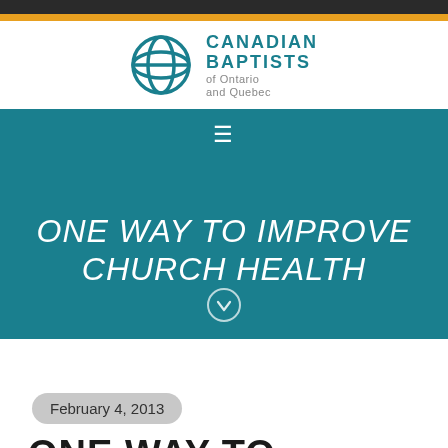[Figure (logo): Canadian Baptists of Ontario and Quebec logo with teal globe icon and text]
ONE WAY TO IMPROVE CHURCH HEALTH
February 4, 2013
ONE WAY TO IMPROVE